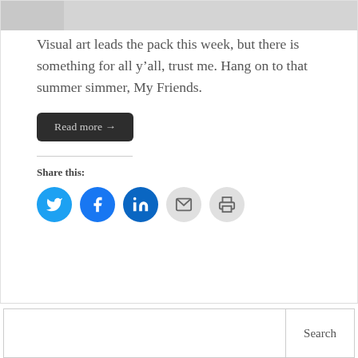[Figure (photo): Black and white photo strip at the top of the page, partially cropped]
Visual art leads the pack this week, but there is something for all y’all, trust me. Hang on to that summer simmer, My Friends.
Read more →
Share this:
[Figure (infographic): Row of social media sharing icons: Twitter (blue), Facebook (blue), LinkedIn (dark blue), Email (grey), Print (grey)]
Search